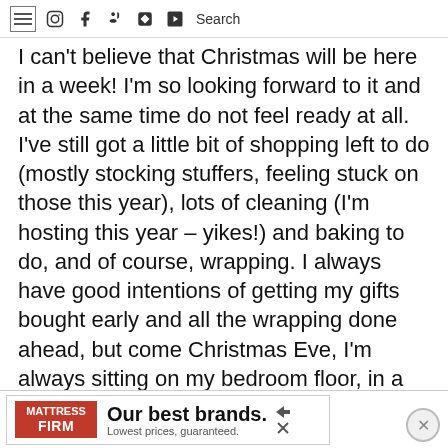[hamburger menu] [instagram] [facebook] [pinterest] [rss] [youtube] Search
I can't believe that Christmas will be here in a week! I'm so looking forward to it and at the same time do not feel ready at all. I've still got a little bit of shopping left to do (mostly stocking stuffers, feeling stuck on those this year), lots of cleaning (I'm hosting this year – yikes!) and baking to do, and of course, wrapping. I always have good intentions of getting my gifts bought early and all the wrapping done ahead, but come Christmas Eve, I'm always sitting on my bedroom floor, in a wrapping frenzy!
For wrapping, I like to use a mix of
[Figure (other): Advertisement banner for Mattress Firm reading 'Our best brands. Lowest prices, guaranteed.']